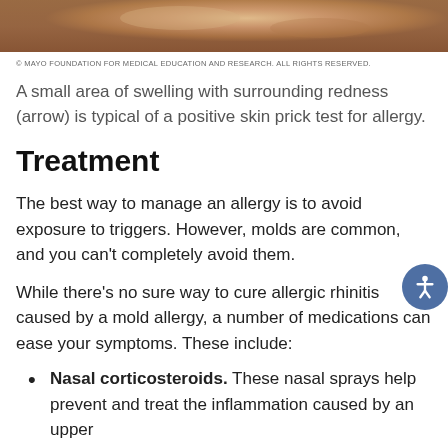[Figure (photo): Close-up photo of skin showing a small area of swelling with surrounding redness, typical of a positive skin prick test for allergy.]
© MAYO FOUNDATION FOR MEDICAL EDUCATION AND RESEARCH. ALL RIGHTS RESERVED.
A small area of swelling with surrounding redness (arrow) is typical of a positive skin prick test for allergy.
Treatment
The best way to manage an allergy is to avoid exposure to triggers. However, molds are common, and you can't completely avoid them.
While there's no sure way to cure allergic rhinitis caused by a mold allergy, a number of medications can ease your symptoms. These include:
Nasal corticosteroids. These nasal sprays help prevent and treat the inflammation caused by an upper